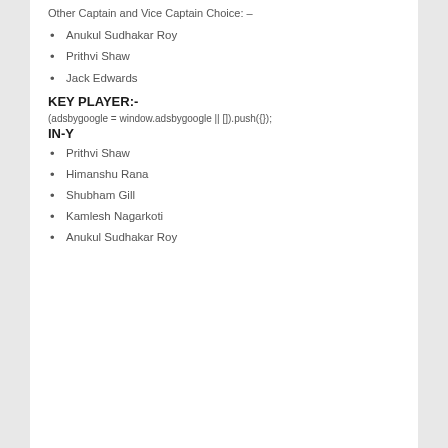Other Captain and Vice Captain Choice: –
Anukul Sudhakar Roy
Prithvi Shaw
Jack Edwards
KEY PLAYER:-
(adsbygoogle = window.adsbygoogle || []).push({});
IN-Y
Prithvi Shaw
Himanshu Rana
Shubham Gill
Kamlesh Nagarkoti
Anukul Sudhakar Roy